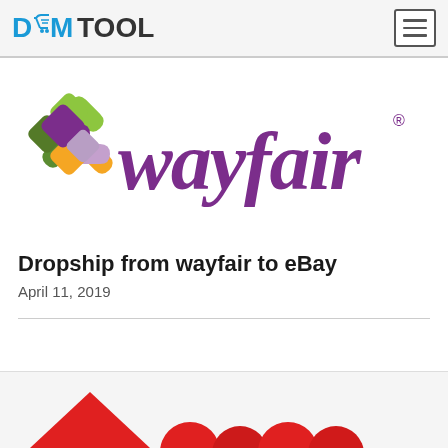DSMTOOL
[Figure (logo): Wayfair logo with colorful geometric clover shape and purple 'wayfair' wordmark with registered trademark symbol]
Dropship from wayfair to eBay
April 11, 2019
[Figure (photo): Partially visible image at bottom of page, showing red triangular shape — likely a thumbnail for the next article]